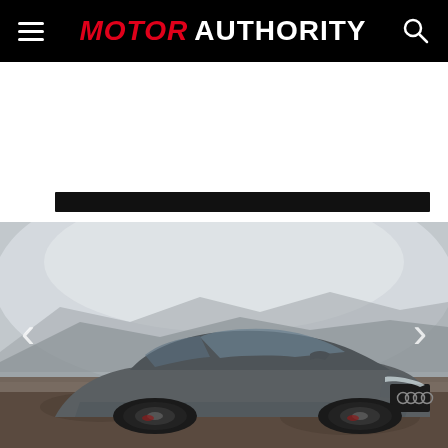MOTOR AUTHORITY
[Figure (photo): Gray Audi RS5 coupe photographed in a foggy, misty mountainous landscape. The car faces slightly left, showing the front fascia with Audi four-ring logo on the black grille and RS5 badge, large black alloy wheels, and LED headlights. Navigation arrows (< and >) flank the photo on the left and right sides.]